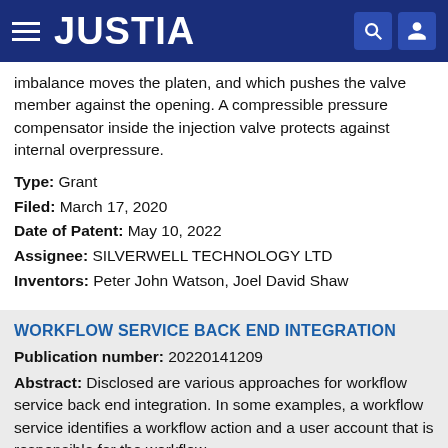JUSTIA
imbalance moves the platen, and which pushes the valve member against the opening. A compressible pressure compensator inside the injection valve protects against internal overpressure.
Type: Grant
Filed: March 17, 2020
Date of Patent: May 10, 2022
Assignee: SILVERWELL TECHNOLOGY LTD
Inventors: Peter John Watson, Joel David Shaw
WORKFLOW SERVICE BACK END INTEGRATION
Publication number: 20220141209
Abstract: Disclosed are various approaches for workflow service back end integration. In some examples, a workflow service identifies a workflow action and a user account that is responsible for the workflow action. In some examples, the workflow action for